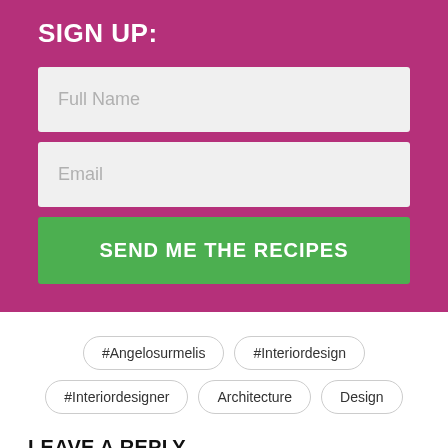SIGN UP:
Full Name
Email
SEND ME THE RECIPES
#Angelosurmelis
#Interiordesign
#Interiordesigner
Architecture
Design
LEAVE A REPLY